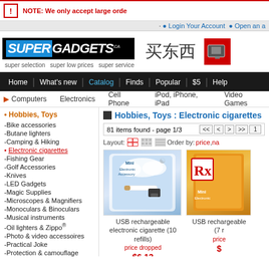NOTE: We only accept large orders
Login Your Account  Open an account
[Figure (logo): SuperGadgets.ca logo with Chinese text 买东西 and red box with TV icon]
Home | What's new | Catalog | Finds | Popular | $5 | Help
Computers  Electronics  Cell Phone  iPod, iPhone, iPad  Video Games
Hobbies, Toys
-Bike accessories
-Butane lighters
-Camping & Hiking
•Electronic cigarettes
-Fishing Gear
-Golf Accessories
-Knives
-LED Gadgets
-Magic Supplies
-Microscopes & Magnifiers
-Monoculars & Binoculars
-Musical instruments
-Oil lighters & Zippo®
-Photo & video accessoires
-Practical Joke
-Protection & camouflage
-R/C Helicopters
-Smokers Accessories
Hobbies, Toys : Electronic cigarettes
81 items found - page 1/3
Layout:  Order by: price, name
[Figure (photo): USB rechargeable electronic cigarette product image - Mini Electronic Accessory packaging with white e-cigarette and USB charger]
USB rechargeable electronic cigarette (10 refills)
price dropped
$6.13
was $7.61
[Figure (photo): USB rechargeable electronic cigarette (7 refills) product image - orange packaging]
USB rechargeable (7 refills)
price
$